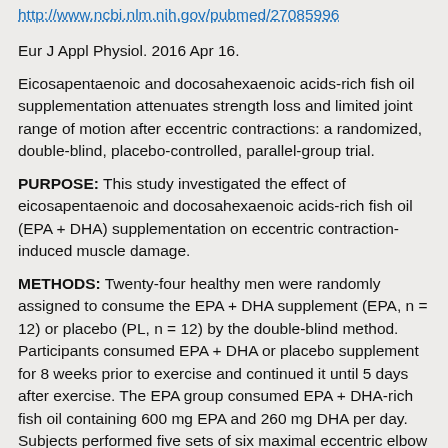http://www.ncbi.nlm.nih.gov/pubmed/27085996
Eur J Appl Physiol. 2016 Apr 16.
Eicosapentaenoic and docosahexaenoic acids-rich fish oil supplementation attenuates strength loss and limited joint range of motion after eccentric contractions: a randomized, double-blind, placebo-controlled, parallel-group trial.
PURPOSE: This study investigated the effect of eicosapentaenoic and docosahexaenoic acids-rich fish oil (EPA + DHA) supplementation on eccentric contraction-induced muscle damage.
METHODS: Twenty-four healthy men were randomly assigned to consume the EPA + DHA supplement (EPA, n = 12) or placebo (PL, n = 12) by the double-blind method. Participants consumed EPA + DHA or placebo supplement for 8 weeks prior to exercise and continued it until 5 days after exercise. The EPA group consumed EPA + DHA-rich fish oil containing 600 mg EPA and 260 mg DHA per day. Subjects performed five sets of six maximal eccentric elbow